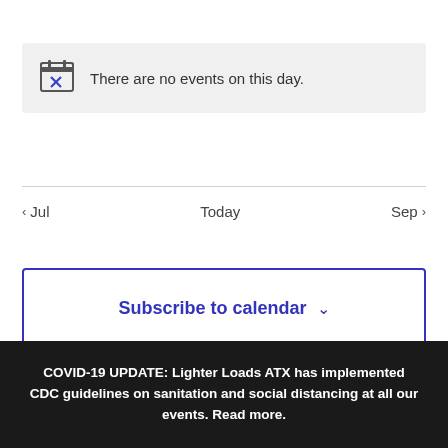There are no events on this day.
< Jul   Today   Sep >
Subscribe to calendar
COVID-19 UPDATE: Lighter Loads ATX has implemented CDC guidelines on sanitation and social distancing at all our events. Read more.